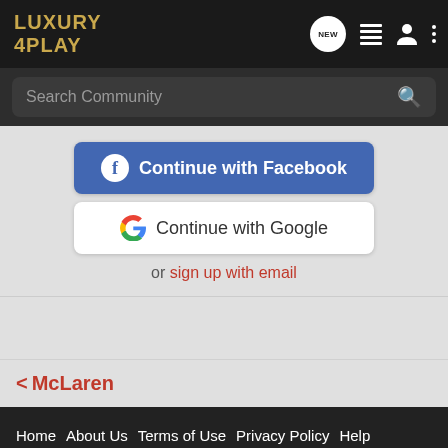LUXURY 4PLAY — navigation header with NEW, list, user, and menu icons
Search Community
Continue with Facebook
Continue with Google
or sign up with email
< McLaren
Home  About Us  Terms of Use  Privacy Policy  Help  Business Directory  Contact Us  |  Grow Your Business  NEW  RSS